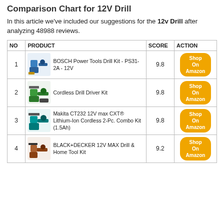Comparison Chart for 12V Drill
In this article we've included our suggestions for the 12v Drill after analyzing 48988 reviews.
| NO | PRODUCT | SCORE | ACTION |
| --- | --- | --- | --- |
| 1 | BOSCH Power Tools Drill Kit - PS31-2A - 12V | 9.8 | Shop On Amazon |
| 2 | Cordless Drill Driver Kit | 9.8 | Shop On Amazon |
| 3 | Makita CT232 12V max CXT® Lithium-Ion Cordless 2-Pc. Combo Kit (1.5Ah) | 9.8 | Shop On Amazon |
| 4 | BLACK+DECKER 12V MAX Drill & Home Tool Kit | 9.2 | Shop On Amazon |